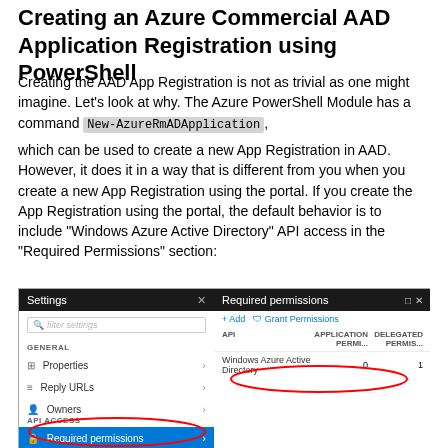Creating an Azure Commercial AAD Application Registration using PowerShell
Creating the AAD App Registration is not as trivial as one might imagine. Let's look at why. The Azure PowerShell Module has a command New-AzureRmADApplication, which can be used to create a new App Registration in AAD. However, it does it in a way that is different from you when you create a new App Registration using the portal. If you create the App Registration using the portal, the default behavior is to include "Windows Azure Active Directory" API access in the "Required Permissions" section:
[Figure (screenshot): Azure portal screenshot showing Settings panel on the left with Properties, Reply URLs, Owners menu items and API ACCESS section with Required permissions highlighted in blue. On the right, Required permissions panel showing Windows Azure Active Directory with APPLICATION PERMISSIONS and DELEGATED PERMISSIONS columns showing 0 and 1 respectively. Red circles highlight 'API ACCESS / Required permissions' on the left and 'Windows Azure Active Directory' row on the right.]